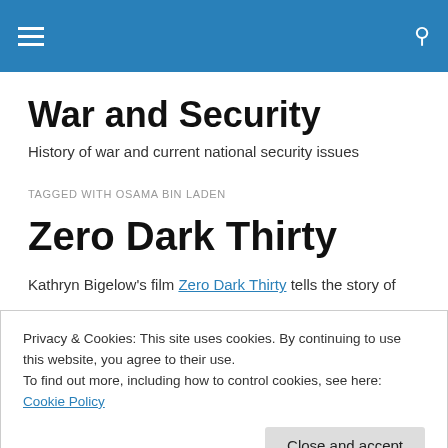War and Security [navigation bar with hamburger menu and search icon]
War and Security
History of war and current national security issues
TAGGED WITH OSAMA BIN LADEN
Zero Dark Thirty
Kathryn Bigelow's film Zero Dark Thirty tells the story of
Privacy & Cookies: This site uses cookies. By continuing to use this website, you agree to their use.
To find out more, including how to control cookies, see here: Cookie Policy
him Usama bin Laden or Ladin , and he is referred to as